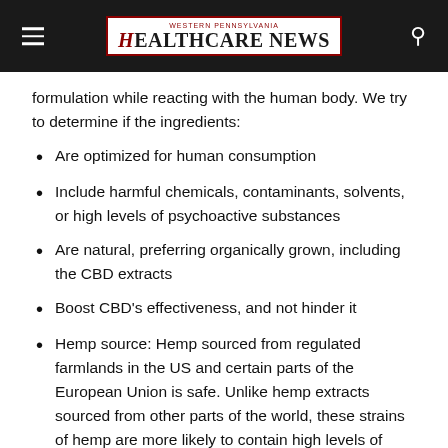Western Pennsylvania Healthcare News
formulation while reacting with the human body. We try to determine if the ingredients:
Are optimized for human consumption
Include harmful chemicals, contaminants, solvents, or high levels of psychoactive substances
Are natural, preferring organically grown, including the CBD extracts
Boost CBD's effectiveness, and not hinder it
Hemp source: Hemp sourced from regulated farmlands in the US and certain parts of the European Union is safe. Unlike hemp extracts sourced from other parts of the world, these strains of hemp are more likely to contain high levels of CBD and less likely to contain harmful